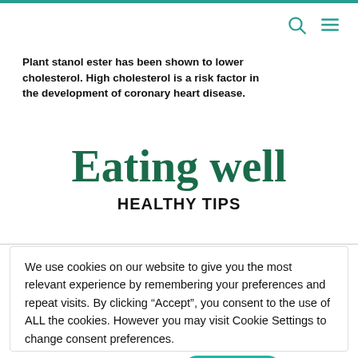Plant stanol ester has been shown to lower cholesterol. High cholesterol is a risk factor in the development of coronary heart disease.
Eating well
HEALTHY TIPS
We use cookies on our website to give you the most relevant experience by remembering your preferences and repeat visits. By clicking “Accept”, you consent to the use of ALL the cookies. However you may visit Cookie Settings to change consent preferences.